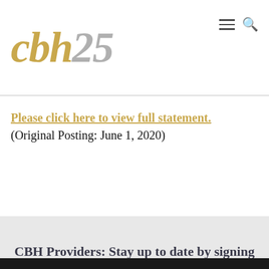cbh25
Please click here to view full statement. (Original Posting: June 1, 2020)
CBH Providers: Stay up to date by signing up for our News Blast ▶
[Figure (logo): Dark footer with partial curved text reading COMMUNI (community) in white lettering on black background]